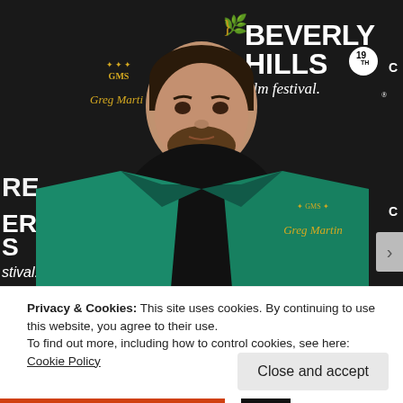[Figure (photo): Man in teal/green blazer over black shirt at Beverly Hills 19th Film Festival red carpet event. Dark backdrop with BEVERLY HILLS film festival branding in white and gold GMS/Greg Martin logos.]
Privacy & Cookies: This site uses cookies. By continuing to use this website, you agree to their use.
To find out more, including how to control cookies, see here: Cookie Policy
Close and accept